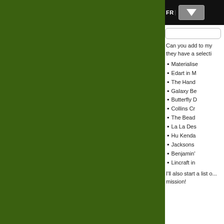[Figure (other): Download button banner with 'FR' text and a download arrow icon on dark background]
Can you add to my... they have a selecti...
Materialise...
Edart in M...
The Hand...
Galaxy Be...
Butterfly D...
Collins Cr...
The Bead...
La La Des...
Hu Kenda...
Jacksons
Benjamin'...
Lincraft in...
I'll also start a list o... mission!